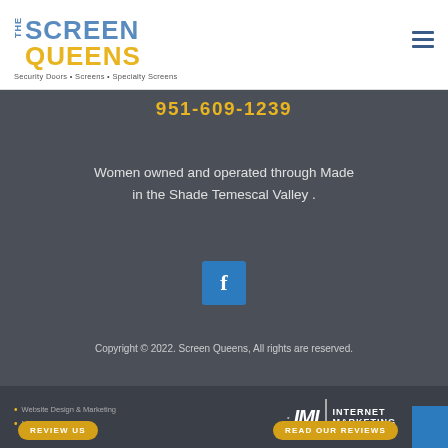[Figure (logo): The Screen Queens logo with blue 'THE SCREEN' and yellow 'QUEENS' text, tagline 'Security Doors • Screens • Specialty Screens']
951-609-1239
Women owned and operated through Made in the Shade Temescal Valley .
[Figure (other): Facebook social media icon button (blue square with white 'f')]
Copyright © 2022. Screen Queens, All rights are reserved.
Website Design & Marketing
Marketing Wizards
[Figure (logo): IMI Internet Marketing logo]
REVIEW US
READ OUR REVIEWS